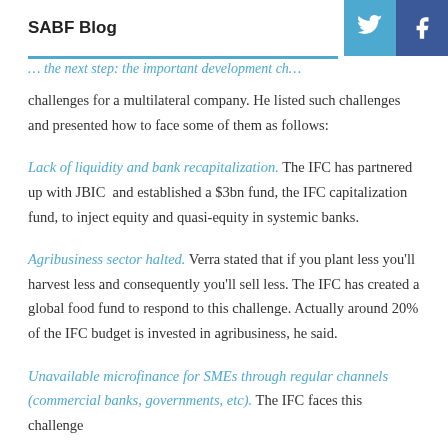SABF Blog
challenges for a multilateral company. He listed such challenges and presented how to face some of them as follows:
Lack of liquidity and bank recapitalization. The IFC has partnered up with JBIC and established a $3bn fund, the IFC capitalization fund, to inject equity and quasi-equity in systemic banks.
Agribusiness sector halted. Verra stated that if you plant less you'll harvest less and consequently you'll sell less. The IFC has created a global food fund to respond to this challenge. Actually around 20% of the IFC budget is invested in agribusiness, he said.
Unavailable microfinance for SMEs through regular channels (commercial banks, governments, etc). The IFC faces this challenge